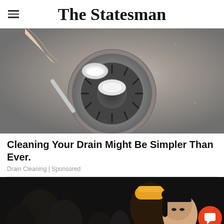The Statesman
[Figure (photo): Close-up photo of a hand holding a spoon pouring white powder (baking soda) into a stainless steel sink drain]
Cleaning Your Drain Might Be Simpler Than Ever.
Drain Cleaning | Sponsored
[Figure (photo): Dark crowd/concert scene photo with people visible, partially cropped at bottom of page]